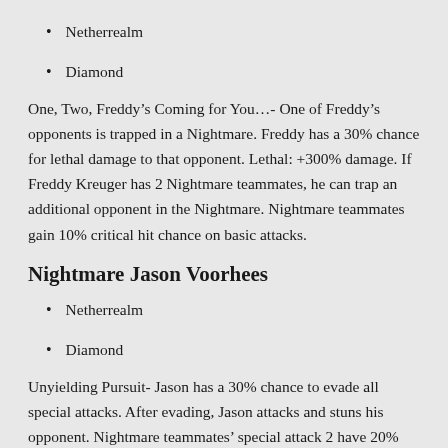Netherrealm
Diamond
One, Two, Freddy’s Coming for You…- One of Freddy’s opponents is trapped in a Nightmare. Freddy has a 30% chance for lethal damage to that opponent. Lethal: +300% damage. If Freddy Kreuger has 2 Nightmare teammates, he can trap an additional opponent in the Nightmare. Nightmare teammates gain 10% critical hit chance on basic attacks.
Nightmare Jason Voorhees
Netherrealm
Diamond
Unyielding Pursuit- Jason has a 30% chance to evade all special attacks. After evading, Jason attacks and stuns his opponent. Nightmare teammates’ special attack 2 have 20% chance of being